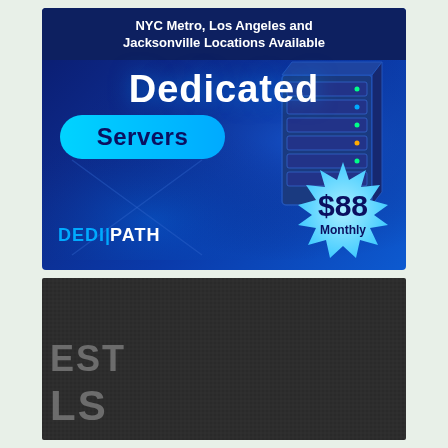[Figure (infographic): DediPath dedicated servers advertisement banner. Dark blue gradient background with a server hardware image on the right. Top bar reads 'NYC Metro, Los Angeles and Jacksonville Locations Available'. Large white text 'Dedicated' with a cyan pill badge reading 'Servers'. Price starburst showing '$88 Monthly'. DediPath logo in cyan/white at bottom left.]
[Figure (photo): Partially visible dark charcoal/black textured background panel with large gray bold letters partially visible: 'EST' on one line and 'LS' on the next line below, suggesting a cropped advertisement or banner.]